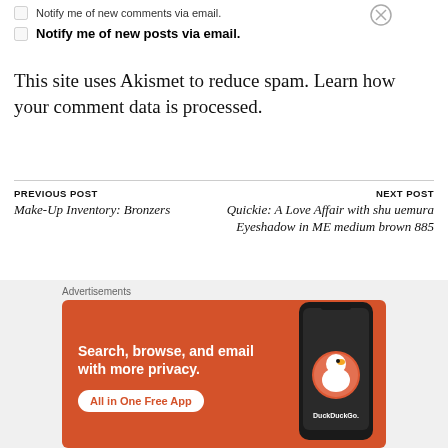Notify me of new comments via email.
Notify me of new posts via email.
This site uses Akismet to reduce spam. Learn how your comment data is processed.
PREVIOUS POST
Make-Up Inventory: Bronzers
NEXT POST
Quickie: A Love Affair with shu uemura Eyeshadow in ME medium brown 885
[Figure (screenshot): DuckDuckGo advertisement banner with orange background. Text reads: Search, browse, and email with more privacy. All in One Free App. Shows DuckDuckGo logo and phone image.]